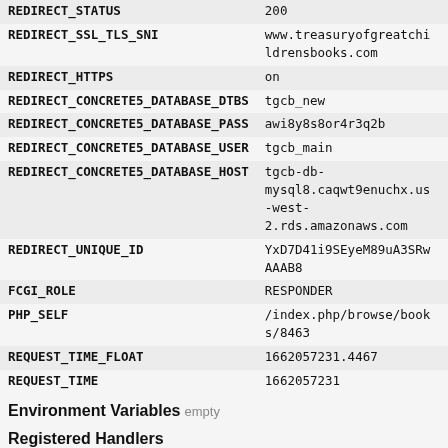| Variable | Value |
| --- | --- |
| REDIRECT_STATUS | 200 |
| REDIRECT_SSL_TLS_SNI | www.treasuryofgreatchildrensbooks.com |
| REDIRECT_HTTPS | on |
| REDIRECT_CONCRETE5_DATABASE_DTBS | tgcb_new |
| REDIRECT_CONCRETE5_DATABASE_PASS | awi8y8s8or4r3q2b |
| REDIRECT_CONCRETE5_DATABASE_USER | tgcb_main |
| REDIRECT_CONCRETE5_DATABASE_HOST | tgcb-db-mysql8.caqwt9enuchx.us-west-2.rds.amazonaws.com |
| REDIRECT_UNIQUE_ID | YxD7D41i9SEyeM89uA3SRwAAAB8 |
| FCGI_ROLE | RESPONDER |
| PHP_SELF | /index.php/browse/books/8463 |
| REQUEST_TIME_FLOAT | 1662057231.4467 |
| REQUEST_TIME | 1662057231 |
Environment Variables empty
Registered Handlers
0.  Concrete\Core\Error\Handler\ErrorHandler
1.  Concrete\Core\Error\Handler\JsonErrorHandler